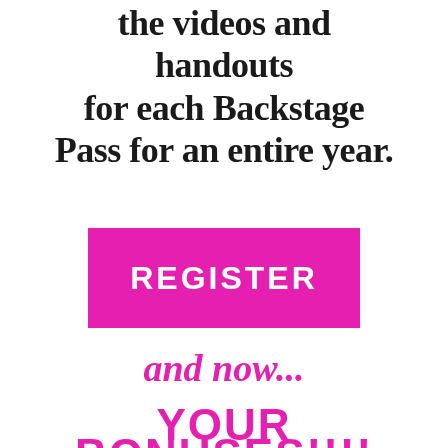the videos and handouts for each Backstage Pass for an entire year.
[Figure (other): Magenta/pink rectangular REGISTER button with white bold uppercase text]
and now...
YOUR
BONUSES!!!!